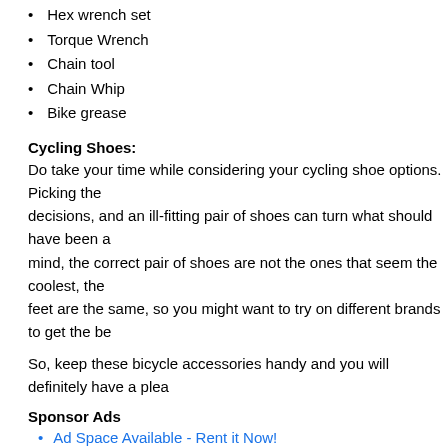Hex wrench set
Torque Wrench
Chain tool
Chain Whip
Bike grease
Cycling Shoes:
Do take your time while considering your cycling shoe options. Picking the decisions, and an ill-fitting pair of shoes can turn what should have been a mind, the correct pair of shoes are not the ones that seem the coolest, the feet are the same, so you might want to try on different brands to get the be
So, keep these bicycle accessories handy and you will definitely have a plea
Sponsor Ads
Ad Space Available - Rent it Now!
About Kyle Craw HELIO MOTORIZED BICYLES
1 connections, 0 recommendations, 15 honor points.
Joined APSense since, October 9th, 2014, From Carlsbad, United States.